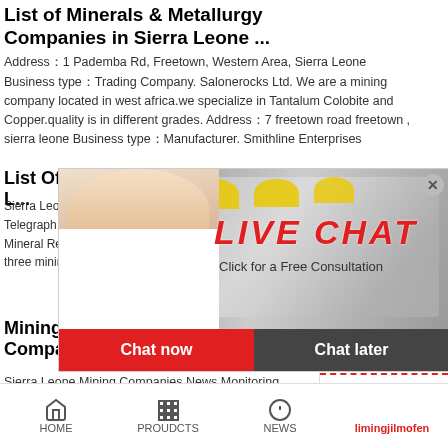List of Minerals & Metallurgy Companies in Sierra Leone ...
Address：1 Pademba Rd, Freetown, Western Area, Sierra Leone
Business type：Trading Company. Salonerocks Ltd. We are a mining company located in west africa.we specialize in Tantalum Colobite and Copper.quality is in different grades. Address：7 freetown road freetown , sierra leone Business type：Manufacturer. Smithline Enterprises
List Of Mining Companies In Sierra L...
Sierra Leone Min... minister calls on ... Telegraph: 16 Se... Mineral Resource... a two-day familiarisation tour of three mining compani... and eastern districts of the
Mining And Exploration Companies In Sierra Leone
Sierra Leone Mining Companies News Monitoring . ...
[Figure (screenshot): Live chat overlay with photo of workers in hard hats and a woman, LIVE CHAT text in red italic, with Chat now and Chat later buttons]
[Figure (screenshot): Right sidebar with 24Hrs Online in red, headset woman photo, Need questions & suggestion?, Chat Now button in red, Enquiry section, limingjilmofen in red]
HOME    PROUDCTS    NEWS    limingjilmofen